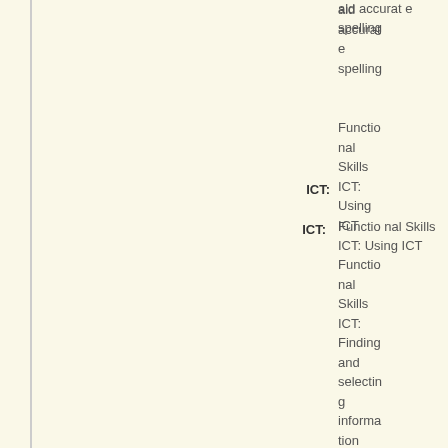aid accurate spelling
ICT:
Functional Skills ICT: Using ICT
Functional Skills ICT: Finding and selecting information
Functional